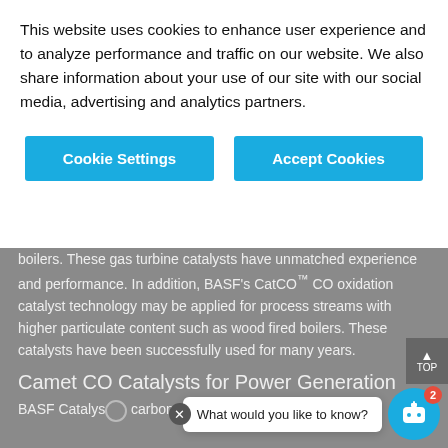This website uses cookies to enhance user experience and to analyze performance and traffic on our website. We also share information about your use of our site with our social media, advertising and analytics partners.
Cookie Settings | Accept Cookies
boilers. These gas turbine catalysts have unmatched experience and performance. In addition, BASF's CatCO™ CO oxidation catalyst technology may be applied for process streams with higher particulate content such as wood fired boilers. These catalysts have been successfully used for many years.
Camet CO Catalysts for Power Generation
BASF Catalys... carbon monoxide...